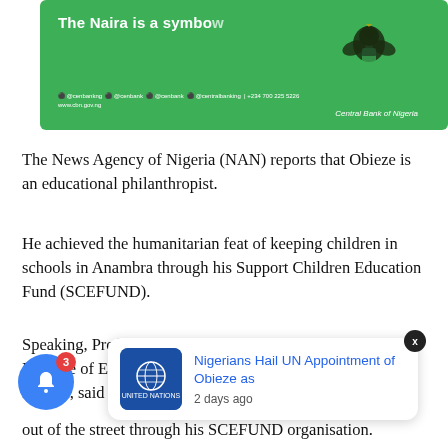[Figure (illustration): Green banner advertisement from Central Bank of Nigeria with text 'The Naira is a symbol' in bold white, CBN eagle logo on right, website www.cbn.gov.ng and social media handles at bottom left, 'Central Bank of Nigeria' label below eagle.]
The News Agency of Nigeria (NAN) reports that Obieze is an educational philanthropist.
He achieved the humanitarian feat of keeping children in schools in Anambra through his Support Children Education Fund (SCEFUND).
Speaking, Prof. Marcel Ezenwoye, President of Chartered Institute of Educational Practitioners UK (CIEPUK) Africa Region, said Ob
[Figure (screenshot): Popup notification card showing United Nations blue logo on left and text 'Nigerians Hail UN Appointment of Obieze as' in blue with '2 days ago' below. A close X button appears top-right. Blue notification bell with badge '3' is at bottom left.]
ling to his out of the street through his SCEFUND organisation.